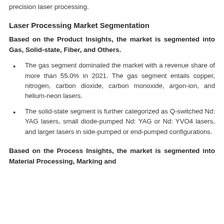precision laser processing.
Laser Processing Market Segmentation
Based on the Product Insights, the market is segmented into Gas, Solid-state, Fiber, and Others.
The gas segment dominated the market with a revenue share of more than 55.0% in 2021. The gas segment entails copper, nitrogen, carbon dioxide, carbon monoxide, argon-ion, and helium-neon lasers.
The solid-state segment is further categorized as Q-switched Nd: YAG lasers, small diode-pumped Nd: YAG or Nd: YVO4 lasers, and larger lasers in side-pumped or end-pumped configurations.
Based on the Process Insights, the market is segmented into Material Processing, Marking and